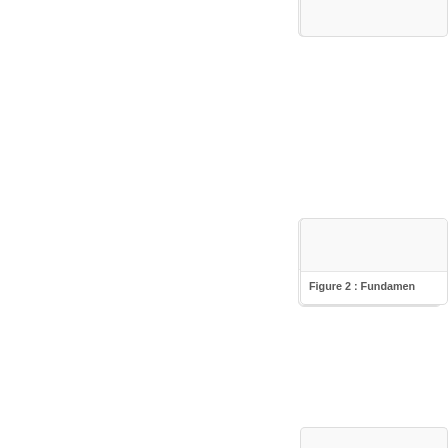[Figure (other): Partial card visible at top right of page - image area of a figure card]
[Figure (other): Card containing Figure 2 with image area above caption]
Figure 2 : Fundamen
[Figure (other): Card containing Figure 3 with image area above caption]
Figure 3 : Pictorial Re
[Figure (other): Partial card visible at bottom right of page]